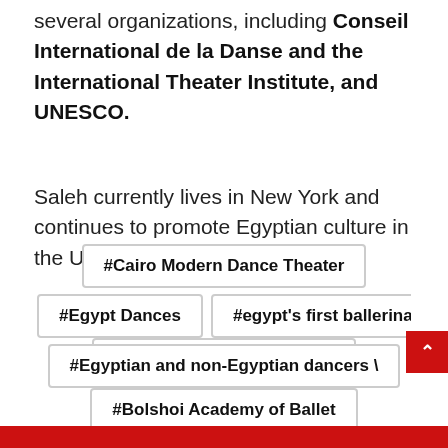several organizations, including Conseil International de la Danse and the International Theater Institute, and UNESCO.
Saleh currently lives in New York and continues to promote Egyptian culture in the USA and the Middle East.
#"From the Horse's Mouth"
#Bolshoi Academy of Ballet
#Cairo Modern Dance Theater
#Egypt Dances
#egypt's first ballerina
#Egyptian and non-Egyptian dancers \